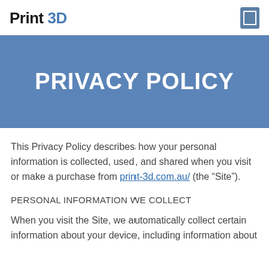Print 3D
PRIVACY POLICY
This Privacy Policy describes how your personal information is collected, used, and shared when you visit or make a purchase from print-3d.com.au/ (the “Site”).
PERSONAL INFORMATION WE COLLECT
When you visit the Site, we automatically collect certain information about your device, including information about